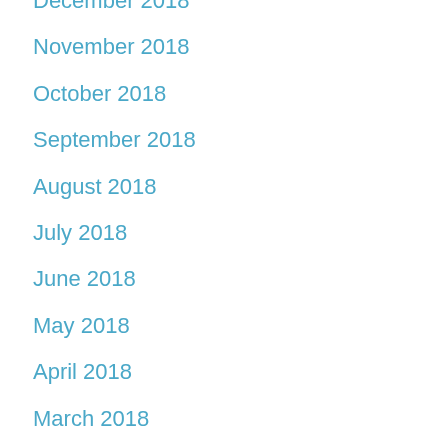December 2018
November 2018
October 2018
September 2018
August 2018
July 2018
June 2018
May 2018
April 2018
March 2018
February 2018
December 2017
November 2017
October 2017